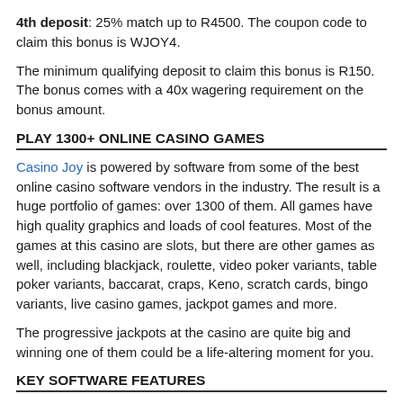4th deposit: 25% match up to R4500. The coupon code to claim this bonus is WJOY4.
The minimum qualifying deposit to claim this bonus is R150. The bonus comes with a 40x wagering requirement on the bonus amount.
PLAY 1300+ ONLINE CASINO GAMES
Casino Joy is powered by software from some of the best online casino software vendors in the industry. The result is a huge portfolio of games: over 1300 of them. All games have high quality graphics and loads of cool features. Most of the games at this casino are slots, but there are other games as well, including blackjack, roulette, video poker variants, table poker variants, baccarat, craps, Keno, scratch cards, bingo variants, live casino games, jackpot games and more.
The progressive jackpots at the casino are quite big and winning one of them could be a life-altering moment for you.
KEY SOFTWARE FEATURES